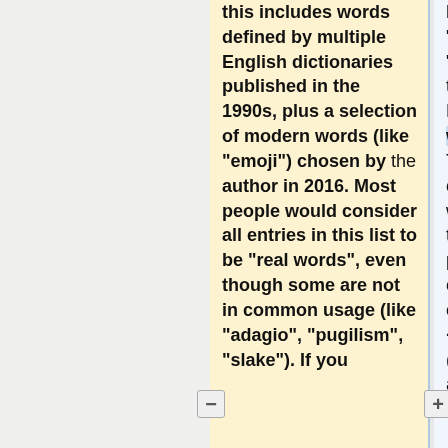this includes words defined by multiple English dictionaries published in the 1990s, plus a selection of modern words (like "emoji") chosen by the author in 2016. Most people would consider all entries in this list to be "real words", even though some are not in common usage (like "adagio", "pugilism", "slake"). If you
hyphenated words (like "self-motivated", "twenty-four") even though any standard English dictionary would include these. There's also a game option to play the game without any dictionary. In this mode, the other players vote to approve or reject each word. You can choose either <i>Majority Vote</i> (half of the players must accept, with ties in favor of